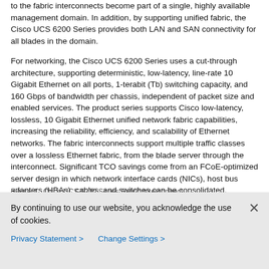to the fabric interconnects become part of a single, highly available management domain. In addition, by supporting unified fabric, the Cisco UCS 6200 Series provides both LAN and SAN connectivity for all blades in the domain.
For networking, the Cisco UCS 6200 Series uses a cut-through architecture, supporting deterministic, low-latency, line-rate 10 Gigabit Ethernet on all ports, 1-terabit (Tb) switching capacity, and 160 Gbps of bandwidth per chassis, independent of packet size and enabled services. The product series supports Cisco low-latency, lossless, 10 Gigabit Ethernet unified network fabric capabilities, increasing the reliability, efficiency, and scalability of Ethernet networks. The fabric interconnects support multiple traffic classes over a lossless Ethernet fabric, from the blade server through the interconnect. Significant TCO savings come from an FCoE-optimized server design in which network interface cards (NICs), host bus adapters (HBAs), cables, and switches can be consolidated.
Figure 4   Cisco UCS 6200 Series Fabric Interconnect
[Figure (other): Small placeholder image/thumbnail for Figure 4]
By continuing to use our website, you acknowledge the use of cookies.
Privacy Statement >   Change Settings >